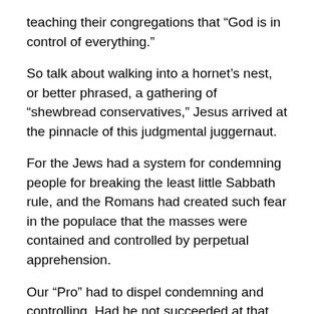teaching their congregations that “God is in control of everything.”
So talk about walking into a hornet’s nest, or better phrased, a gathering of “shewbread conservatives,” Jesus arrived at the pinnacle of this judgmental juggernaut.
For the Jews had a system for condemning people for breaking the least little Sabbath rule, and the Romans had created such fear in the populace that the masses were contained and controlled by perpetual apprehension.
Our “Pro” had to dispel condemning and controlling. Had he not succeeded at that, all he would have accomplished was a new sect of Judaism, which would have no chance whatsoever of gaining attention in the Gentile world.
So the ministry of Jesus consisted of a confronting